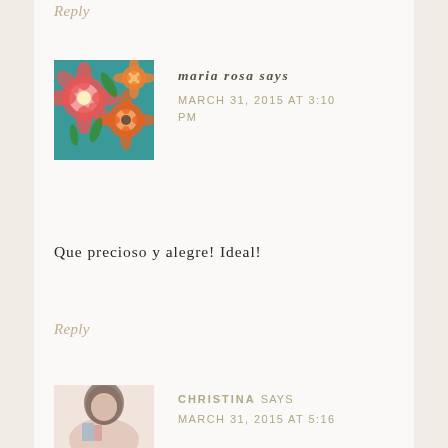Reply
[Figure (photo): Avatar photo of maria rosa — floral fabric with red, orange, and pink flowers on a teal background]
maria rosa says
MARCH 31, 2015 AT 3:10 PM
Que precioso y alegre! Ideal!
Reply
[Figure (photo): Partial avatar photo of Christina — woman with dark hair, partially visible, pink/beige tones]
CHRISTINA says
MARCH 31, 2015 AT 5:16